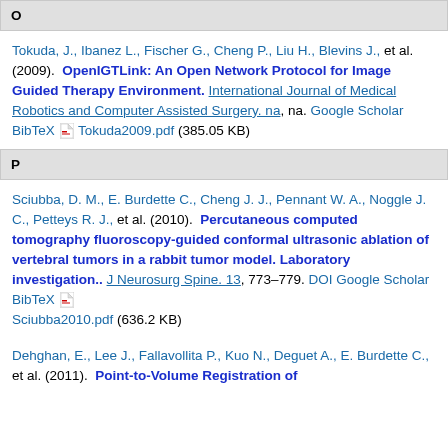O
Tokuda, J., Ibanez L., Fischer G., Cheng P., Liu H., Blevins J., et al. (2009). OpenIGTLink: An Open Network Protocol for Image Guided Therapy Environment. International Journal of Medical Robotics and Computer Assisted Surgery. na, na. Google Scholar BibTeX Tokuda2009.pdf (385.05 KB)
P
Sciubba, D. M., E. Burdette C., Cheng J. J., Pennant W. A., Noggle J. C., Petteys R. J., et al. (2010). Percutaneous computed tomography fluoroscopy-guided conformal ultrasonic ablation of vertebral tumors in a rabbit tumor model. Laboratory investigation.. J Neurosurg Spine. 13, 773–779. DOI Google Scholar BibTeX Sciubba2010.pdf (636.2 KB)
Dehghan, E., Lee J., Fallavollita P., Kuo N., Deguet A., E. Burdette C., et al. (2011). Point-to-Volume Registration of